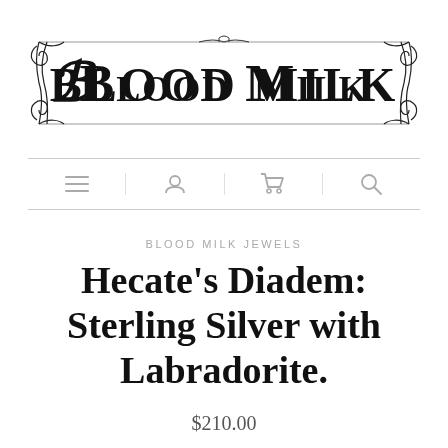[Figure (logo): Blood Milk ornate gothic logo with decorative scrollwork borders]
BLOOD MILK JEWELS
Hecate's Diadem: Sterling Silver with Labradorite.
$210.00